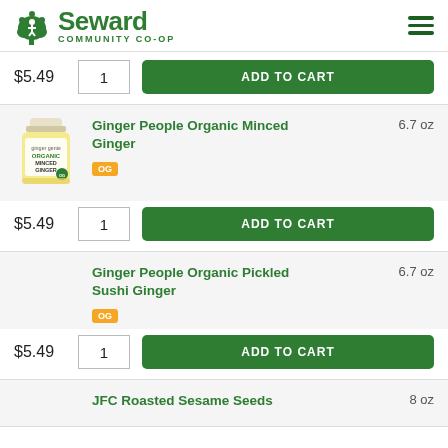Seward Community Co-op
$5.49  1  ADD TO CART
Ginger People Organic Minced Ginger  6.7 oz  OG
$5.49  1  ADD TO CART
Ginger People Organic Pickled Sushi Ginger  6.7 oz  OG
$5.49  1  ADD TO CART
JFC Roasted Sesame Seeds  8 oz